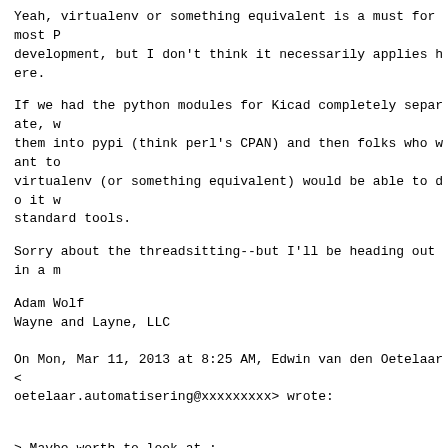Yeah, virtualenv or something equivalent is a must for most P development, but I don't think it necessarily applies here.
If we had the python modules for Kicad completely separate, w them into pypi (think perl's CPAN) and then folks who want to virtualenv (or something equivalent) would be able to do it w standard tools.
Sorry about the threadsitting--but I'll be heading out in a m
Adam Wolf
Wayne and Layne, LLC
On Mon, Mar 11, 2013 at 8:25 AM, Edwin van den Oetelaar < oetelaar.automatisering@xxxxxxxxx> wrote:
> Maybe worth to look at :
> http://virtualenvwrapper.readthedocs.org/en/latest/command_
> That is what I use for environments that have multiple conf
> (and libraries).
> Keep going !
> Edwin van den Oetelaar
>
> On Mon, Mar 11, 2013 at 2:19 PM, Miguel Angel Ajo Pelayo